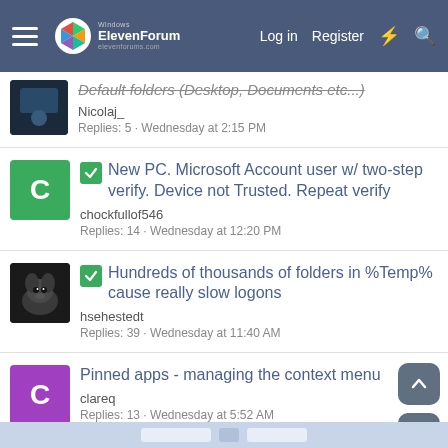Windows ElevenForum | Log in | Register
Default folders (Desktop, Documents etc...) · Nicolaj_ · Replies: 5 · Wednesday at 2:15 PM
New PC. Microsoft Account user w/ two-step verify. Device not Trusted. Repeat verify · chockfullof546 · Replies: 14 · Wednesday at 12:20 PM
Hundreds of thousands of folders in %Temp% cause really slow logons · hsehestedt · Replies: 39 · Wednesday at 11:40 AM
Pinned apps - managing the context menu · clareq · Replies: 13 · Wednesday at 5:52 AM